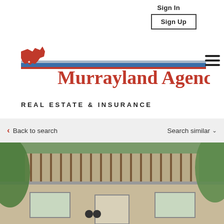Sign In
Sign Up
[Figure (logo): Murrayland Agency logo with Minnesota state shape in red and horizontal red/blue/silver bar, with 'Murrayland Agency' in bold red serif text. Subtitle: REAL ESTATE & INSURANCE]
REAL ESTATE & INSURANCE
< Back to search
Search similar v
[Figure (photo): Photograph of a residential house exterior showing a deck/balcony with wooden railings on the upper floor, siding on lower floor, a front porch roof, windows and door visible, surrounded by green trees and foliage.]